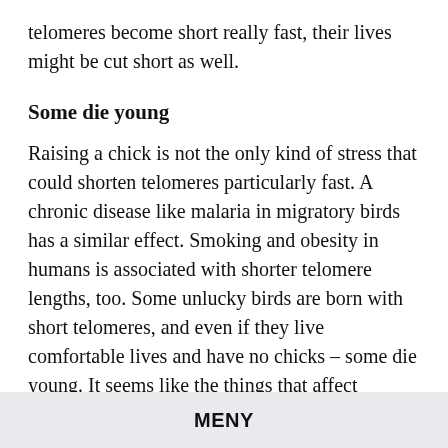telomeres become short really fast, their lives might be cut short as well.
Some die young
Raising a chick is not the only kind of stress that could shorten telomeres particularly fast. A chronic disease like malaria in migratory birds has a similar effect. Smoking and obesity in humans is associated with shorter telomere lengths, too. Some unlucky birds are born with short telomeres, and even if they live comfortable lives and have no chicks – some die young. It seems like the things that affect telomere shortening are a complicated mix of genetics and all kinds of environmental factors. There are even some lucky birds that do not seem to be affected at all. They raise
MENY